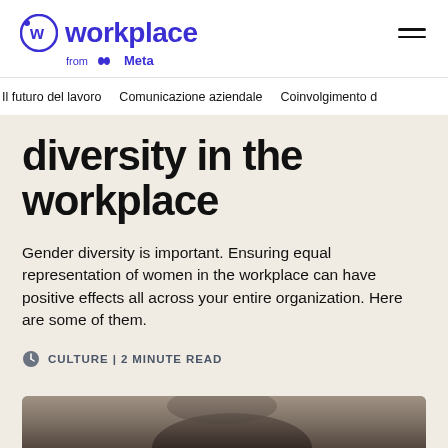Workplace from Meta
Il futuro del lavoro | Comunicazione aziendale | Coinvolgimento d
diversity in the workplace
Gender diversity is important. Ensuring equal representation of women in the workplace can have positive effects all across your entire organization. Here are some of them.
CULTURE | 2 MINUTE READ
[Figure (photo): Partial view of a person, bottom of article hero image]